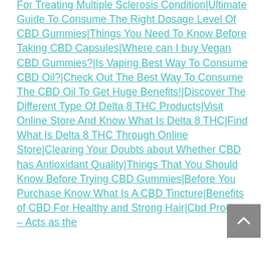For Treating Multiple Sclerosis Condition|Ultimate Guide To Consume The Right Dosage Level Of CBD Gummies|Things You Need To Know Before Taking CBD Capsules|Where can I buy Vegan CBD Gummies?|Is Vaping Best Way To Consume CBD Oil?|Check Out The Best Way To Consume The CBD Oil To Get Huge Benefits!|Discover The Different Type Of Delta 8 THC Products|Visit Online Store And Know What Is Delta 8 THC|Find What Is Delta 8 THC Through Online Store|Clearing Your Doubts about Whether CBD has Antioxidant Quality|Things That You Should Know Before Trying CBD Gummies|Before You Purchase Know What Is A CBD Tincture|Benefits of CBD For Healthy and Strong Hair|Cbd Product – Acts as the